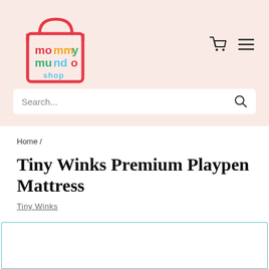[Figure (logo): Mommy Mundo Shop colorful logo with shopping bag icon]
[Figure (other): Shopping cart icon and hamburger menu icon in top right navigation]
Search...
Home /
Tiny Winks Premium Playpen Mattress
Tiny Winks
[Figure (other): Product image area with teal border, content not visible]